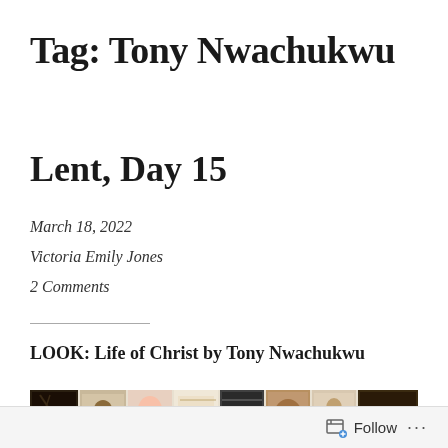Tag: Tony Nwachukwu
Lent, Day 15
March 18, 2022
Victoria Emily Jones
2 Comments
LOOK: Life of Christ by Tony Nwachukwu
[Figure (photo): A horizontal strip showing multiple small artwork panels depicting scenes from the Life of Christ by Tony Nwachukwu, rendered in muted earth tones with detailed figurative imagery.]
Follow